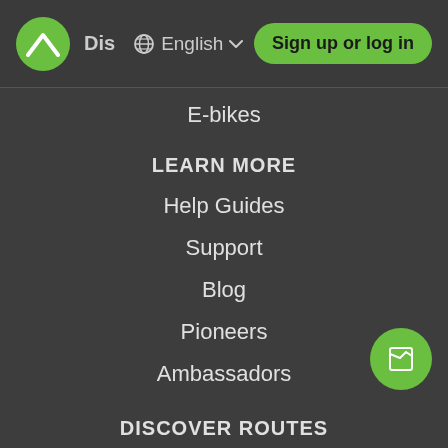Dis  English  Sign up or log in
E-bikes
LEARN MORE
Help Guides
Support
Blog
Pioneers
Ambassadors
DISCOVER ROUTES
Hikes
MTB Trails
Road Cycling Routes
Cycling Routes
Bikepacking